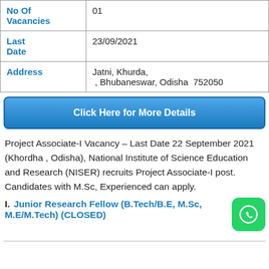| No Of Vacancies | 01 |
| Last Date | 23/09/2021 |
| Address | Jatni, Khurda,
, Bhubaneswar, Odisha  752050 |
Click Here for More Details
Project Associate-I Vacancy – Last Date 22 September 2021 (Khordha , Odisha), National Institute of Science Education and Research (NISER) recruits Project Associate-I post. Candidates with M.Sc, Experienced can apply.
I. Junior Research Fellow (B.Tech/B.E, M.Sc, M.E/M.Tech) (CLOSED)